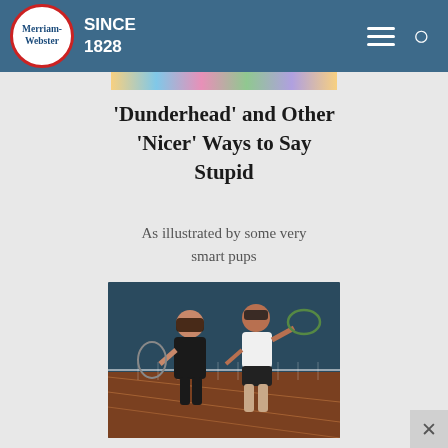Merriam-Webster SINCE 1828
[Figure (photo): Colorful image strip at top of article]
'Dunderhead' and Other 'Nicer' Ways to Say Stupid
As illustrated by some very smart pups
[Figure (photo): Two people on a badminton court holding rackets at a net]
10 Words from Place Names